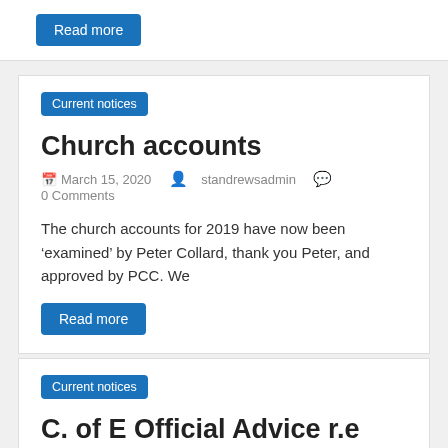Read more
Current notices
Church accounts
March 15, 2020   standrewsadmin   0 Comments
The church accounts for 2019 have now been ‘examined’ by Peter Collard, thank you Peter, and approved by PCC. We
Read more
Current notices
C. of E Official Advice r.e Covid 19